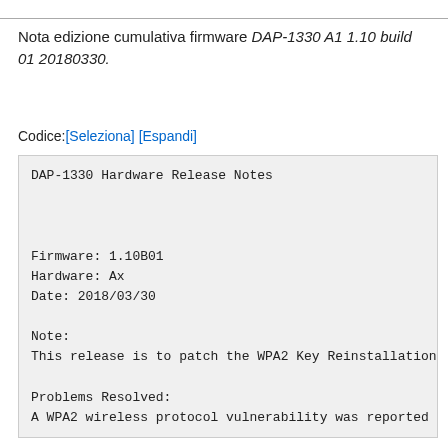Nota edizione cumulativa firmware DAP-1330 A1 1.10 build 01 20180330.
Codice:[Seleziona] [Espandi]
DAP-1330 Hardware Release Notes


Firmware: 1.10B01
Hardware: Ax
Date: 2018/03/30

Note:
This release is to patch the WPA2 Key Reinstallation

Problems Resolved:
A WPA2 wireless protocol vulnerability was reported t

•CVE-2017-13077: reinstallation of the pairwise key i
•CVE-2017-13078: reinstallation of the group key in t
•CVE-2017-13079: reinstallation of the integrity...